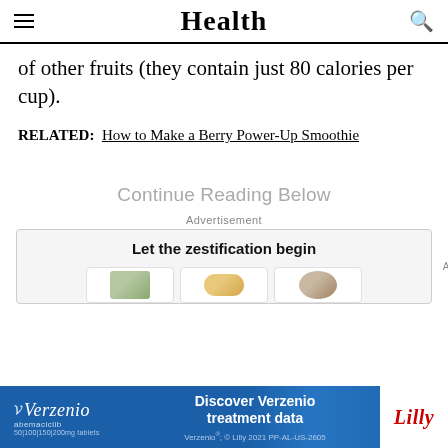Health
of other fruits (they contain just 80 calories per cup).
RELATED: How to Make a Berry Power-Up Smoothie
Continue Reading Below
Advertisement
[Figure (other): Advertisement box with text 'Let the zestification begin' and three product images in white cards on a grey background]
[Figure (other): Verzenio (abemaciclib) advertisement banner: 'Discover Verzenio treatment data' with Verzenio logo and Lilly logo, blue background]